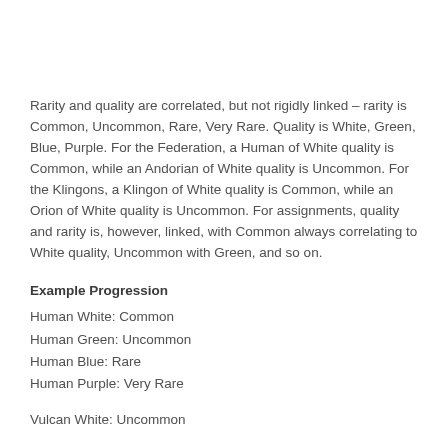Rarity and quality are correlated, but not rigidly linked – rarity is Common, Uncommon, Rare, Very Rare. Quality is White, Green, Blue, Purple. For the Federation, a Human of White quality is Common, while an Andorian of White quality is Uncommon. For the Klingons, a Klingon of White quality is Common, while an Orion of White quality is Uncommon. For assignments, quality and rarity is, however, linked, with Common always correlating to White quality, Uncommon with Green, and so on.
Example Progression
Human White: Common
Human Green: Uncommon
Human Blue: Rare
Human Purple: Very Rare
Vulcan White: Uncommon